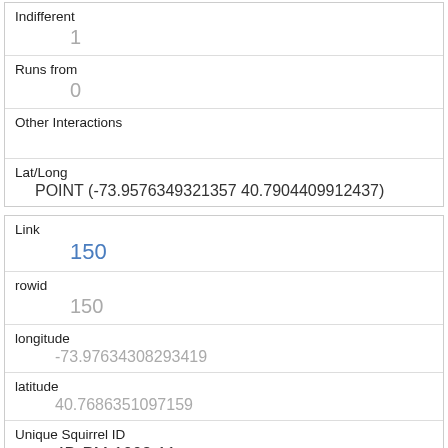| Indifferent | 1 |
| Runs from | 0 |
| Other Interactions |  |
| Lat/Long | POINT (-73.9576349321357 40.7904409912437) |
| Link | 150 |
| rowid | 150 |
| longitude | -73.97634308293419 |
| latitude | 40.7686351097159 |
| Unique Squirrel ID | 4D-PM-1008-11 |
| Hectare | 04D |